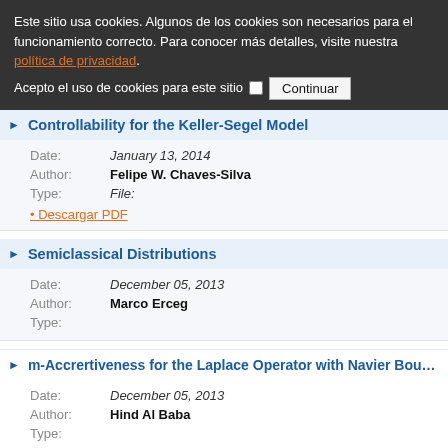Este sitio usa cookies. Algunos de los cookies son necesarios para el funcionamiento correcto. Para conocer más detalles, visite nuestra política de privacidad.
Acepto el uso de cookies para este sitio  Continuar
▶ Controllability for the Keller-Segel Model
Date: January 13, 2014
Author: Felipe W. Chaves-Silva
Type: File:
• Descargar PDF
▶ Semiclassical Distributions
Date: December 05, 2013
Author: Marco Erceg
Type:
▶ m-Accrertiveness for the Laplace Operator with Navier Boundary Conditions
Date: December 05, 2013
Author: Hind Al Baba
Type:
▶ Optimization with PDE Constraints - Application to Sonic Boom